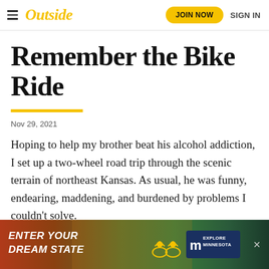Outside — JOIN NOW   SIGN IN
Remember the Bike Ride
Nov 29, 2021
Hoping to help my brother beat his alcohol addiction, I set up a two-wheel road trip through the scenic terrain of northeast Kansas. As usual, he was funny, endearing, maddening, and burdened by problems I couldn't solve.
[Figure (infographic): Advertisement banner: ENTER YOUR DREAM STATE — Explore Minnesota, with cyclists on a forest road]